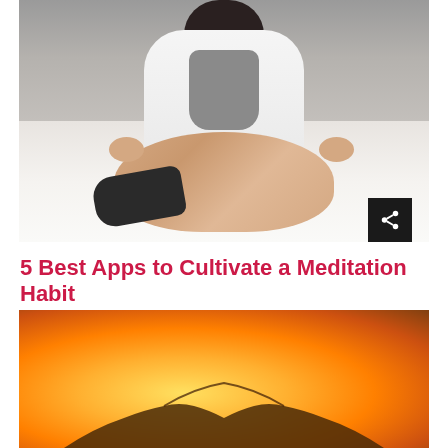[Figure (photo): A woman in white jacket sitting cross-legged in meditation pose on a white bed, with a share icon button at the bottom right corner of the image]
5 Best Apps to Cultivate a Meditation Habit
[Figure (photo): Hands held in meditation/prayer pose with a bright sunrise or golden light behind, warm orange and yellow tones]